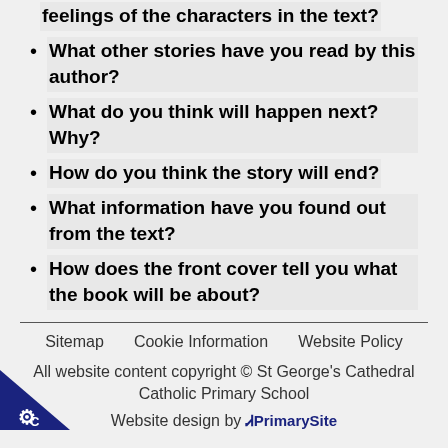feelings of the characters in the text?
What other stories have you read by this author?
What do you think will happen next? Why?
How do you think the story will end?
What information have you found out from the text?
How does the front cover tell you what the book will be about?
Sitemap   Cookie Information   Website Policy
All website content copyright © St George's Cathedral Catholic Primary School
Website design by PrimarySite